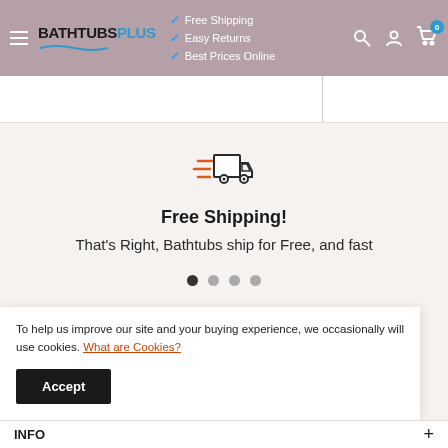[Figure (screenshot): BathtubsPlus website header with logo, navigation icons, and free shipping/easy returns/best prices online features with blue checkmarks]
[Figure (illustration): Delivery truck icon with speed lines in orange and dark outline style]
Free Shipping!
That's Right, Bathtubs ship for Free, and fast
To help us improve our site and your buying experience, we occasionally will use cookies. What are Cookies?
Accept
INFO